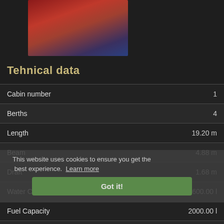[Figure (photo): Interior photo of a boat cabin showing red upholstered seating/berths and blue cushioning]
Tehnical data
| Property | Value |
| --- | --- |
| Cabin number | 1 |
| Berths | 4 |
| Length | 19.20 m |
| Beam | 4.88 m |
| Draft | 1.68 m |
| Water Capacity | 600.00 l |
| Fuel Capacity | 2000.00 l |
| Toilets | 2 |
| Engine | 2x 375 HP |
This website uses cookies to ensure you get the best experience. Learn more